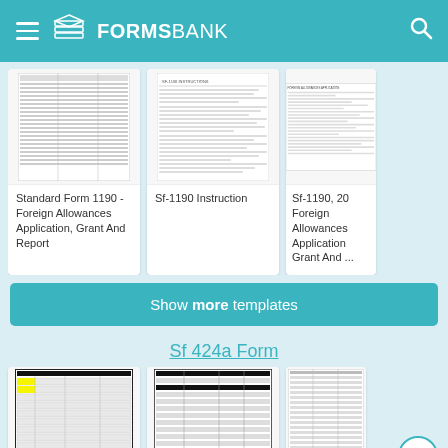FORMSBANK
[Figure (screenshot): Thumbnail of Standard Form 1190 - Foreign Allowances Application, Grant And Report]
Standard Form 1190 - Foreign Allowances Application, Grant And Report
[Figure (screenshot): Thumbnail of Sf-1190 Instruction]
Sf-1190 Instruction
[Figure (screenshot): Thumbnail of Sf-1190, 20 Foreign Allowances Application Grant And ...]
Sf-1190, 20 Foreign Allowances Application Grant And ...
Show more templates
Sf 424a Form
[Figure (screenshot): Thumbnail of Standard Form with yellow highlighted cells]
Standard Form
[Figure (screenshot): Thumbnail of a budget form]
[Figure (screenshot): Thumbnail of Standard Form]
Standard F...